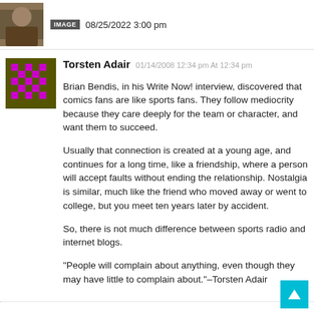[Figure (photo): Partial view of a person in costume at top left, with IMAGE badge and date to the right]
08/25/2022 3:00 pm
[Figure (illustration): Pixel art avatar in magenta and olive green colors for user Torsten Adair]
Torsten Adair 01/14/2008 12:34 pm At 12:34 pm
Brian Bendis, in his Write Now! interview, discovered that comics fans are like sports fans. They follow mediocrity because they care deeply for the team or character, and want them to succeed.
Usually that connection is created at a young age, and continues for a long time, like a friendship, where a person will accept faults without ending the relationship. Nostalgia is similar, much like the friend who moved away or went to college, but you meet ten years later by accident.
So, there is not much difference between sports radio and internet blogs.
"People will complain about anything, even though they may have little to complain about."–Torsten Adair